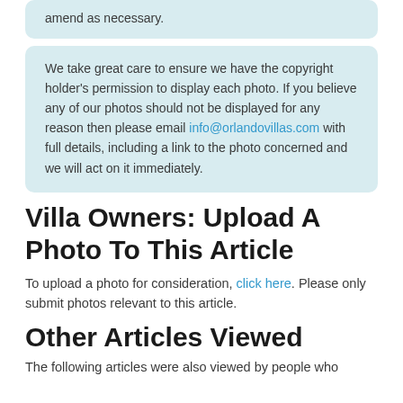amend as necessary.
We take great care to ensure we have the copyright holder's permission to display each photo. If you believe any of our photos should not be displayed for any reason then please email info@orlandovillas.com with full details, including a link to the photo concerned and we will act on it immediately.
Villa Owners: Upload A Photo To This Article
To upload a photo for consideration, click here. Please only submit photos relevant to this article.
Other Articles Viewed
The following articles were also viewed by people who